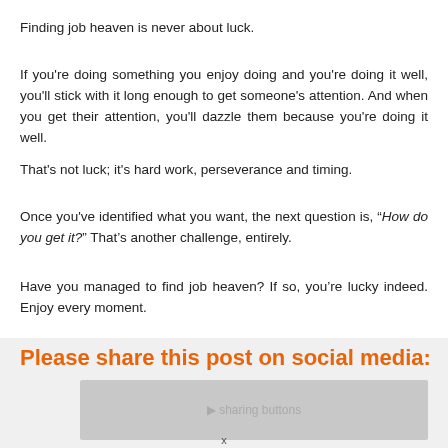Finding job heaven is never about luck.
If you're doing something you enjoy doing and you're doing it well, you'll stick with it long enough to get someone's attention. And when you get their attention, you'll dazzle them because you're doing it well.
That's not luck; it's hard work, perseverance and timing.
Once you've identified what you want, the next question is, “How do you get it?” That’s another challenge, entirely.
Have you managed to find job heaven? If so, you’re lucky indeed. Enjoy every moment.
If you haven’t found it yet, keep looking;
Please share this post on social media:
[Figure (screenshot): Social media sharing widget area with blurred/grayed out share buttons]